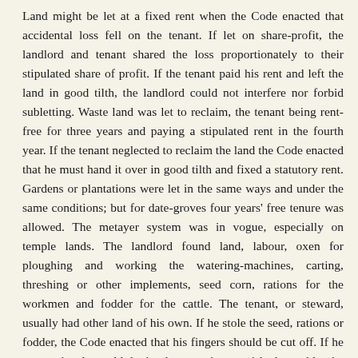Land might be let at a fixed rent when the Code enacted that accidental loss fell on the tenant. If let on share-profit, the landlord and tenant shared the loss proportionately to their stipulated share of profit. If the tenant paid his rent and left the land in good tilth, the landlord could not interfere nor forbid subletting. Waste land was let to reclaim, the tenant being rent-free for three years and paying a stipulated rent in the fourth year. If the tenant neglected to reclaim the land the Code enacted that he must hand it over in good tilth and fixed a statutory rent. Gardens or plantations were let in the same ways and under the same conditions; but for date-groves four years' free tenure was allowed. The metayer system was in vogue, especially on temple lands. The landlord found land, labour, oxen for ploughing and working the watering-machines, carting, threshing or other implements, seed corn, rations for the workmen and fodder for the cattle. The tenant, or steward, usually had other land of his own. If he stole the seed, rations or fodder, the Code enacted that his fingers should be cut off. If he appropriated or sold the implements, impoverished or sublet the cattle, he was heavily fined and in default of payment might be condemned to be torn to pieces by the cattle on